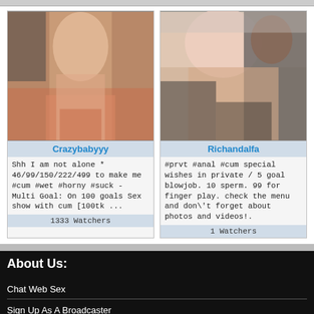[Figure (photo): Thumbnail photo of Crazybabyyy]
Crazybabyyy
Shh I am not alone * 46/99/150/222/499 to make me #cum #wet #horny #suck - Multi Goal: On 100 goals Sex show with cum [100tk ...
1333 Watchers
[Figure (photo): Thumbnail photo of Richandalfa]
Richandalfa
#prvt #anal #cum special wishes in private / 5 goal blowjob. 10 sperm. 99 for finger play. check the menu and don\'t forget about photos and videos!.
1 Watchers
About Us:
Chat Web Sex
Sign Up As A Broadcaster
Login/Register